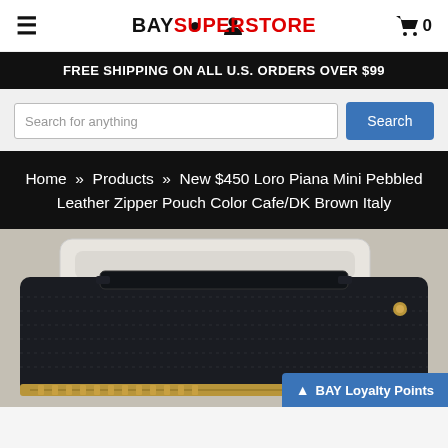BAYSUPERSTORE
FREE SHIPPING ON ALL U.S. ORDERS OVER $99
Search for anything
Home » Products » New $450 Loro Piana Mini Pebbled Leather Zipper Pouch Color Cafe/DK Brown Italy
[Figure (photo): Close-up photo of a dark navy/black pebbled leather zipper pouch with a handle strap, gold zipper hardware, and a white cloth dustbag partially visible on top, displayed on a light beige surface.]